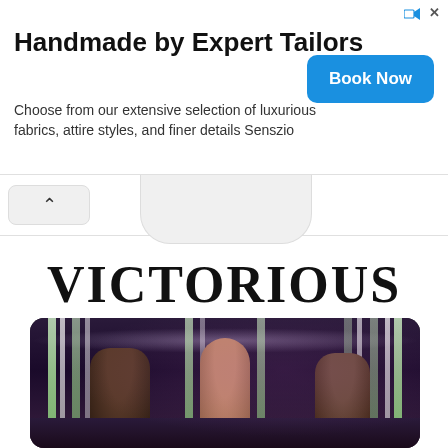[Figure (screenshot): Advertisement banner for Senszio tailoring service. Title: 'Handmade by Expert Tailors'. Body text: 'Choose from our extensive selection of luxurious fabrics, attire styles, and finer details Senszio'. Blue 'Book Now' button on right.]
[Figure (screenshot): Browser navigation bar area with back button (chevron up/caret) on left and a center tab/toolbar element.]
VICTORIOUS
[Figure (photo): Performance stage scene showing performers dancing under colorful light bars (green and white vertical lights) with a dark background. A woman in the center is dancing with arms raised, flanked by two other performers. Crowd visible in the lower portion.]